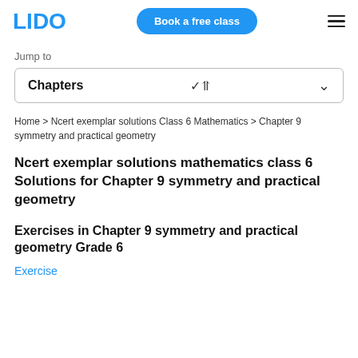LIDO | Book a free class
Jump to
Chapters
Home > Ncert exemplar solutions Class 6 Mathematics > Chapter 9 symmetry and practical geometry
Ncert exemplar solutions mathematics class 6 Solutions for Chapter 9 symmetry and practical geometry
Exercises in Chapter 9 symmetry and practical geometry Grade 6
Exercise